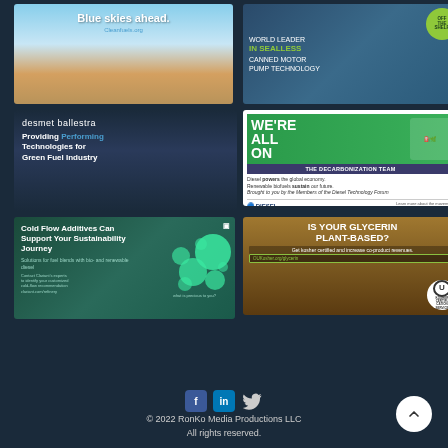[Figure (illustration): Ad: Blue skies ahead. Cleanfuels.org — blue sky landscape photo with bold white text]
[Figure (illustration): Ad: World Leader in Sealless Canned Motor Pump Technology — Off the shelf badge, teal/blue background]
[Figure (illustration): Ad: desmet ballestra — Providing Performing Technologies for Green Fuel Industry, dark blue background]
[Figure (illustration): Ad: We're All On — The Decarbonization Team. Diesel powers the global economy. Renewable biofuels sustain our future. Diesel Technology Forum, dieselforum.org]
[Figure (illustration): Ad: Cold Flow Additives Can Support Your Sustainability Journey. Solutions for fuel blends with bio- and renewable diesel. Contact Clariant's experts. clariant.com/refinery]
[Figure (illustration): Ad: Is Your Glycerin Plant-Based? Get kosher certified and increase co-product revenues. OUKosher.org/glycerin. Kosher Certification Service badge.]
[Figure (illustration): Social media icons: Facebook, LinkedIn, Twitter]
© 2022 RonKo Media Productions LLC All rights reserved.